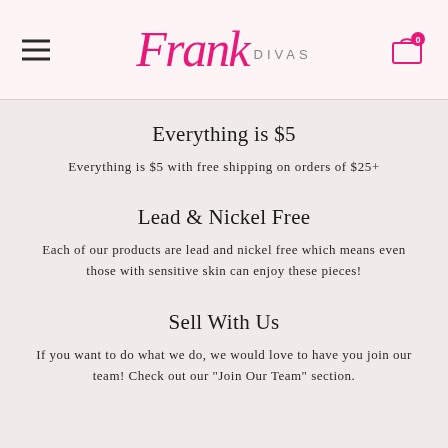Frank Divas
Everything is $5
Everything is $5 with free shipping on orders of $25+
Lead & Nickel Free
Each of our products are lead and nickel free which means even those with sensitive skin can enjoy these pieces!
Sell With Us
If you want to do what we do, we would love to have you join our team! Check out our "Join Our Team" section.